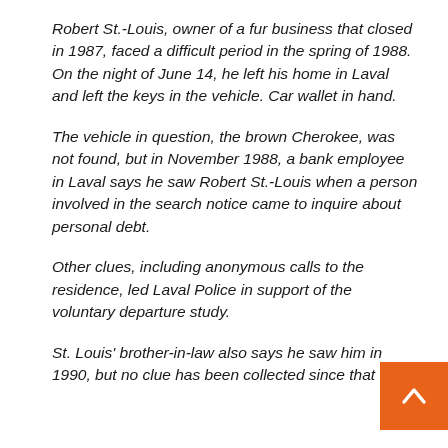Robert St.-Louis, owner of a fur business that closed in 1987, faced a difficult period in the spring of 1988. On the night of June 14, he left his home in Laval and left the keys in the vehicle. Car wallet in hand.
The vehicle in question, the brown Cherokee, was not found, but in November 1988, a bank employee in Laval says he saw Robert St.-Louis when a person involved in the search notice came to inquire about personal debt.
Other clues, including anonymous calls to the residence, led Laval Police in support of the voluntary departure study.
St. Louis' brother-in-law also says he saw him in 1990, but no clue has been collected since that date.